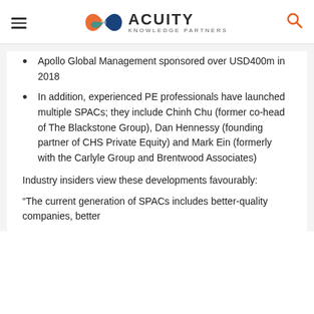Acuity Knowledge Partners
Apollo Global Management sponsored over USD400m in 2018
In addition, experienced PE professionals have launched multiple SPACs; they include Chinh Chu (former co-head of The Blackstone Group), Dan Hennessy (founding partner of CHS Private Equity) and Mark Ein (formerly with the Carlyle Group and Brentwood Associates)
Industry insiders view these developments favourably:
“The current generation of SPACs includes better-quality companies, better